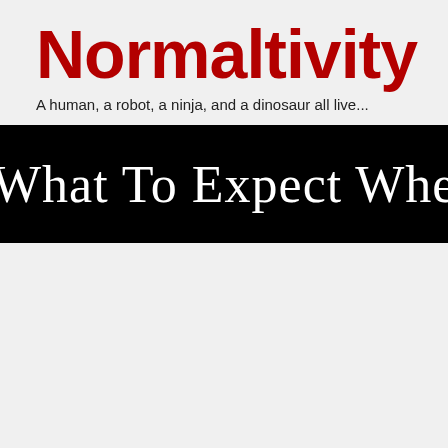Normaltivity
A human, a robot, a ninja, and a dinosaur all live...
What To Expect When Yo...